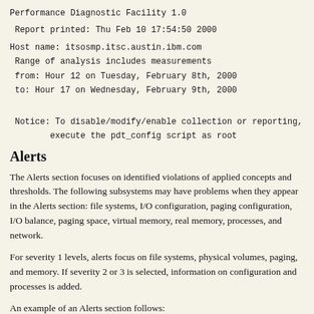Performance Diagnostic Facility 1.0
Report printed: Thu Feb 10 17:54:50 2000
Host name: itsosmp.itsc.austin.ibm.com
 Range of analysis includes measurements
 from: Hour 12 on Tuesday, February 8th, 2000
 to: Hour 17 on Wednesday, February 9th, 2000
Notice: To disable/modify/enable collection or reporting,
        execute the pdt_config script as root
Alerts
The Alerts section focuses on identified violations of applied concepts and thresholds. The following subsystems may have problems when they appear in the Alerts section: file systems, I/O configuration, paging configuration, I/O balance, paging space, virtual memory, real memory, processes, and network.
For severity 1 levels, alerts focus on file systems, physical volumes, paging, and memory. If severity 2 or 3 is selected, information on configuration and processes is added.
An example of an Alerts section follows: